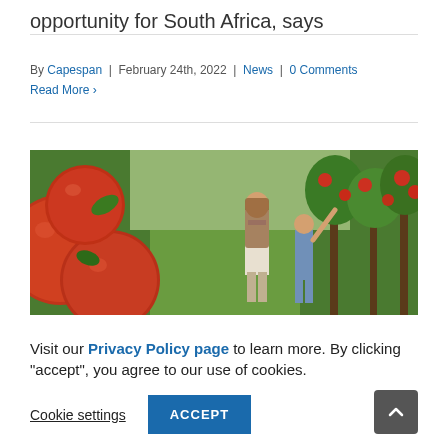opportunity for South Africa, says
By Capespan | February 24th, 2022 | News | 0 Comments
Read More >
[Figure (photo): Close-up of red apples in the foreground with a woman and child picking apples in a green orchard in the background.]
Visit our Privacy Policy page to learn more. By clicking "accept", you agree to our use of cookies.
Cookie settings  ACCEPT